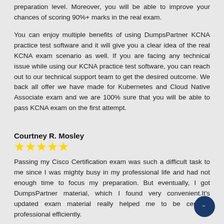preparation level. Moreover, you will be able to improve your chances of scoring 90%+ marks in the real exam.
You can enjoy multiple benefits of using DumpsPartner KCNA practice test software and it will give you a clear idea of the real KCNA exam scenario as well. If you are facing any technical issue while using our KCNA practice test software, you can reach out to our technical support team to get the desired outcome. We back all offer we have made for Kubernetes and Cloud Native Associate exam and we are 100% sure that you will be able to pass KCNA exam on the first attempt.
Courtney R. Mosley
[Figure (other): 4 yellow star rating icons]
Passing my Cisco Certification exam was such a difficult task to me since I was mighty busy in my professional life and had not enough time to focus my preparation. But eventually, I got DumpsPartner material, which I found very convenient.It's updated exam material really helped me to be certified professional efficiently.
Latoria O. Hundley